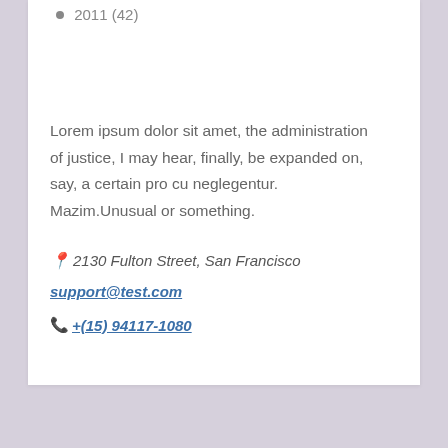2011 (42)
Lorem ipsum dolor sit amet, the administration of justice, I may hear, finally, be expanded on, say, a certain pro cu neglegentur. Mazim.Unusual or something.
📍2130 Fulton Street, San Francisco
support@test.com
+​(15) 94117-1080